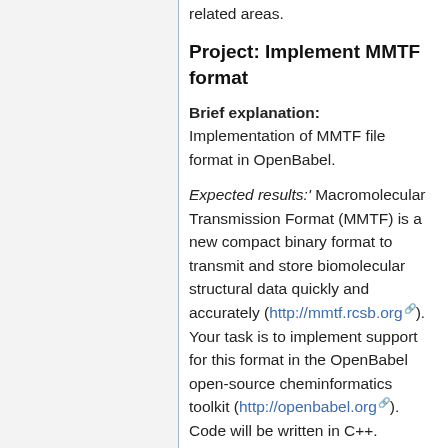related areas.
Project: Implement MMTF format
Brief explanation: Implementation of MMTF file format in OpenBabel.
Expected results:' Macromolecular Transmission Format (MMTF) is a new compact binary format to transmit and store biomolecular structural data quickly and accurately (http://mmtf.rcsb.org). Your task is to implement support for this format in the OpenBabel open-source cheminformatics toolkit (http://openbabel.org). Code will be written in C++.
Mentor: Geoff Hutchison (geoffh at pitt dot edu) or David Koes (dkoes at pitt dot edu)